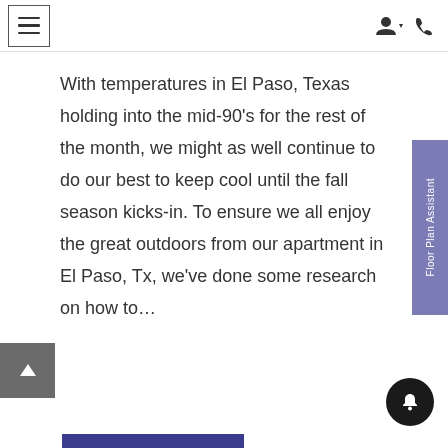Navigation header with hamburger menu, user icon, and phone icon
With temperatures in El Paso, Texas holding into the mid-90's for the rest of the month, we might as well continue to do our best to keep cool until the fall season kicks-in. To ensure we all enjoy the great outdoors from our apartment in El Paso, Tx, we've done some research on how to…